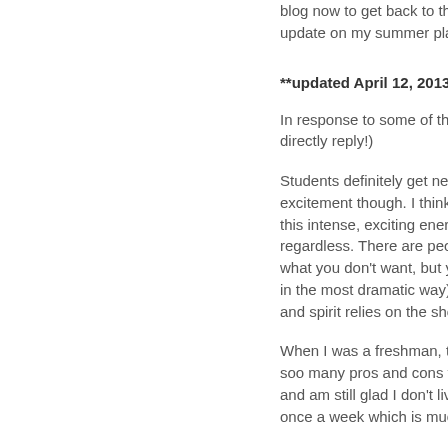blog now to get back to the swing of things... update on my summer plans!
**updated April 12, 2013 at 4pm
In response to some of the comments... directly reply!)
Students definitely get nervous leading... excitement though. I think the closest f... this intense, exciting energy all around... regardless. There are people in the vic... what you don't want, but you're all sup... in the most dramatic way). Every hous... and spirit relies on the shoulders of th...
When I was a freshman, there wasn't a... soo many pros and cons to each hous... and am still glad I don't live in the quad... once a week which is much more than...
Side note: Upperclassman dorms are d...
Pretty decent references:
http://en.wikipedia.org/wiki/Harvard_Co...